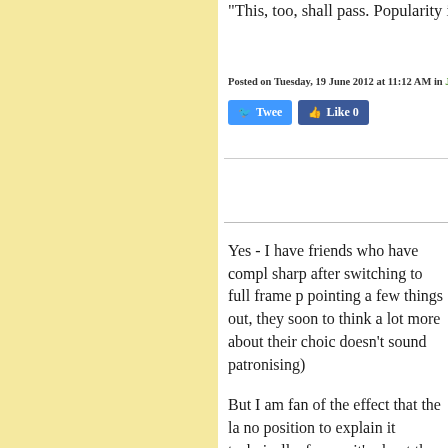"This, too, shall pass. Popularity is i
Posted on Tuesday, 19 June 2012 at 11:12 AM in John
[Figure (screenshot): Twitter Tweet button and Facebook Like 0 button]
Yes - I have friends who have compl sharp after switching to full frame p pointing a few things out, they soon to think a lot more about their choic doesn't sound patronising)
But I am fan of the effect that the la no position to explain it technically, focus - it's about the transition betwe these images an immediately recogn
When you posted these portraits fro "weird" camera, they said immediat